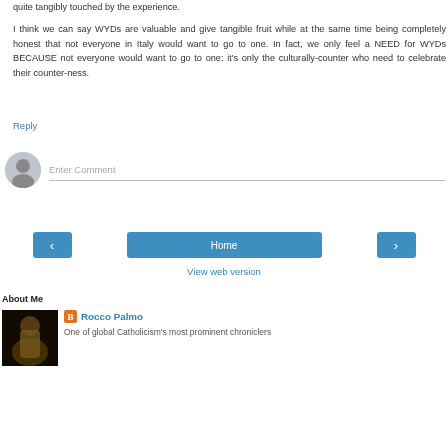quite tangibly touched by the experience.
I think we can say WYDs are valuable and give tangible fruit while at the same time being completely honest that not everyone in Italy would want to go to one. In fact, we only feel a NEED for WYDs BECAUSE not everyone would want to go to one: it's only the culturally-counter who need to celebrate their counter-ness.
Reply
[Figure (screenshot): Comment input field with avatar icon and 'Enter Comment' placeholder]
[Figure (screenshot): Navigation buttons: left arrow, Home, right arrow, and View web version link]
About Me
Rocco Palmo
One of global Catholicism's most prominent chroniclers